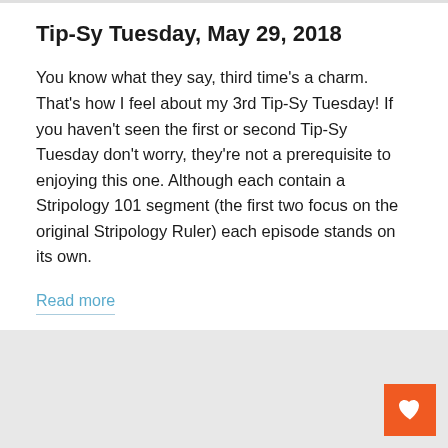Tip-Sy Tuesday, May 29, 2018
You know what they say, third time's a charm. That's how I feel about my 3rd Tip-Sy Tuesday! If you haven't seen the first or second Tip-Sy Tuesday don't worry, they're not a prerequisite to enjoying this one. Although each contain a Stripology 101 segment (the first two focus on the original Stripology Ruler) each episode stands on its own.
Read more
[Figure (photo): Gray placeholder image area at the bottom of the page with an orange heart button in the bottom-right corner.]